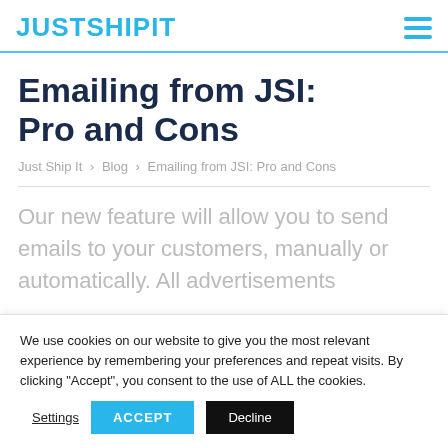JUSTSHIPIT
Emailing from JSI: Pro and Cons
Just Ship It > Blog > Emailing from JSI: Pro and Cons
Our new feature will allow you to send emails to your customers, manually or automatically. All advertisements
We use cookies on our website to give you the most relevant experience by remembering your preferences and repeat visits. By clicking “Accept”, you consent to the use of ALL the cookies. Settings ACCEPT Decline